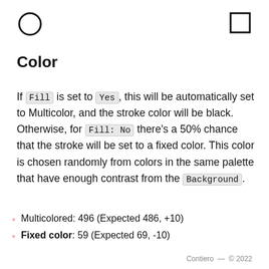[Figure (illustration): Circle outline icon, top-left]
[Figure (illustration): Square outline icon, top-right]
Color
If Fill is set to Yes, this will be automatically set to Multicolor, and the stroke color will be black. Otherwise, for Fill: No there's a 50% chance that the stroke will be set to a fixed color. This color is chosen randomly from colors in the same palette that have enough contrast from the Background.
Multicolored: 496 (Expected 486, +10)
Fixed color: 59 (Expected 69, -10)
Contiero — © 2022